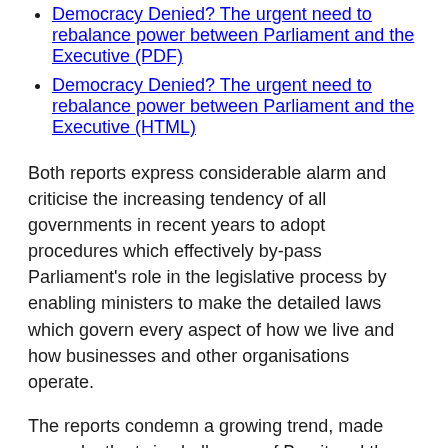Democracy Denied? The urgent need to rebalance power between Parliament and the Executive (PDF)
Democracy Denied? The urgent need to rebalance power between Parliament and the Executive (HTML)
Both reports express considerable alarm and criticise the increasing tendency of all governments in recent years to adopt procedures which effectively by-pass Parliament's role in the legislative process by enabling ministers to make the detailed laws which govern every aspect of how we live and how businesses and other organisations operate.
The reports condemn a growing trend, made worse by the twin challenges of Brexit and the COVID-19 pandemic, in using skeleton bills to give ministers sweeping powers to make secondary legislation that